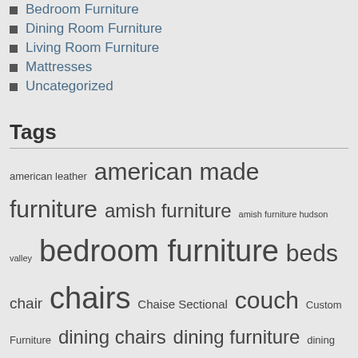Bedroom Furniture
Dining Room Furniture
Living Room Furniture
Mattresses
Uncategorized
Tags
american leather american made furniture amish furniture amish furniture hudson valley bedroom furniture beds chair chairs Chaise Sectional couch Custom Furniture dining chairs dining furniture dining room furniture furniture store furniture stores hudson valley hudson valley furniture leather furniture living room furniture